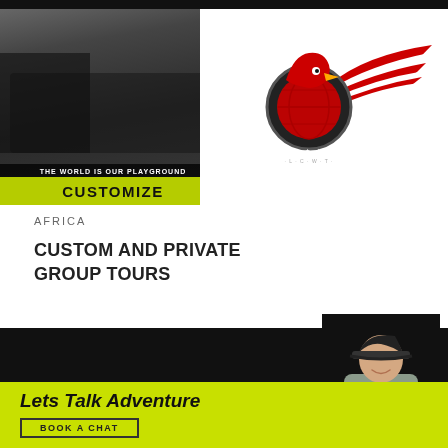[Figure (photo): Motorcycle tour company banner: left half shows motorcycles and riders in dark setting with 'THE WORLD IS OUR PLAYGROUND' text and green CUSTOMIZE label; right half shows red eagle/globe logo with American flag wing design]
AFRICA
CUSTOM AND PRIVATE GROUP TOURS
[Figure (photo): Man in cap and grey shirt standing with arms crossed on black background]
Lets Talk Adventure
BOOK A CHAT